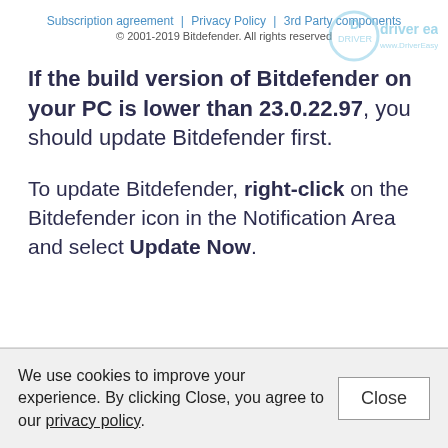Subscription agreement | Privacy Policy | 3rd Party components
© 2001-2019 Bitdefender. All rights reserved
If the build version of Bitdefender on your PC is lower than 23.0.22.97, you should update Bitdefender first.
To update Bitdefender, right-click on the Bitdefender icon in the Notification Area and select Update Now.
We use cookies to improve your experience. By clicking Close, you agree to our privacy policy.